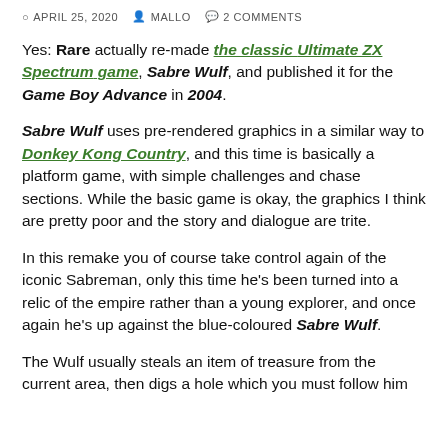APRIL 25, 2020  MALLO  2 COMMENTS
Yes: Rare actually re-made the classic Ultimate ZX Spectrum game, Sabre Wulf, and published it for the Game Boy Advance in 2004.
Sabre Wulf uses pre-rendered graphics in a similar way to Donkey Kong Country, and this time is basically a platform game, with simple challenges and chase sections. While the basic game is okay, the graphics I think are pretty poor and the story and dialogue are trite.
In this remake you of course take control again of the iconic Sabreman, only this time he's been turned into a relic of the empire rather than a young explorer, and once again he's up against the blue-coloured Sabre Wulf.
The Wulf usually steals an item of treasure from the current area, then digs a hole which you must follow him